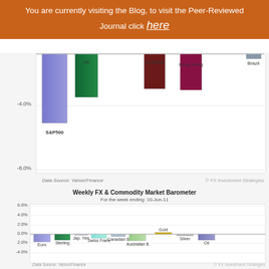You are currently visiting the Blog, to visit the Peer-Reviewed Journal click here
[Figure (bar-chart): Partial bar chart showing negative returns for S&P500, UK, Australia, Hong Kong, and Brazil. Y-axis shows -4.0% and -8.0% gridlines.]
[Figure (bar-chart): Weekly FX & Commodity Market Barometer]